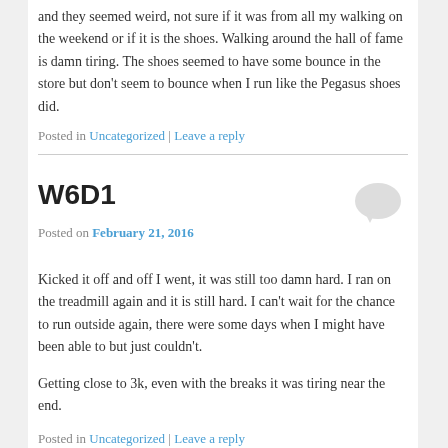and they seemed weird, not sure if it was from all my walking on the weekend or if it is the shoes. Walking around the hall of fame is damn tiring. The shoes seemed to have some bounce in the store but don't seem to bounce when I run like the Pegasus shoes did.
Posted in Uncategorized | Leave a reply
W6D1
Posted on February 21, 2016
Kicked it off and off I went, it was still too damn hard. I ran on the treadmill again and it is still hard. I can't wait for the chance to run outside again, there were some days when I might have been able to but just couldn't.
Getting close to 3k, even with the breaks it was tiring near the end.
Posted in Uncategorized | Leave a reply